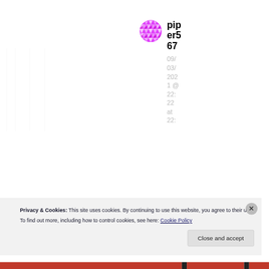[Figure (illustration): Magenta/pink geometric patterned circular avatar icon for user piper567]
piper567
09/03/2021 @ 22:22 at 22:
Privacy & Cookies: This site uses cookies. By continuing to use this website, you agree to their use.
To find out more, including how to control cookies, see here: Cookie Policy
Close and accept